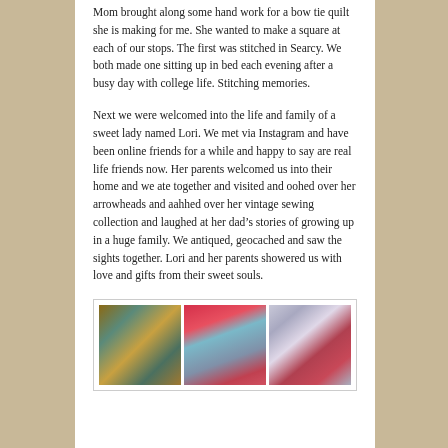Mom brought along some hand work for a bow tie quilt she is making for me. She wanted to make a square at each of our stops. The first was stitched in Searcy. We both made one sitting up in bed each evening after a busy day with college life. Stitching memories.
Next we were welcomed into the life and family of a sweet lady named Lori. We met via Instagram and have been online friends for a while and happy to say are real life friends now. Her parents welcomed us into their home and we ate together and visited and oohed over her arrowheads and aahhed over her vintage sewing collection and laughed at her dad's stories of growing up in a huge family. We antiqued, geocached and saw the sights together. Lori and her parents showered us with love and gifts from their sweet souls.
[Figure (photo): A collage of three photos: left shows spools of colorful thread, center shows red felt pieces and yarn/thread, right shows crystal-headed pins in a pincushion.]